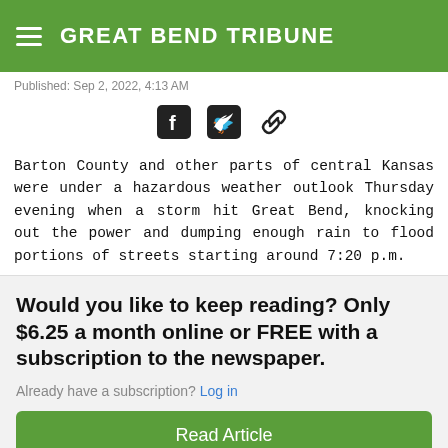GREAT BEND TRIBUNE
Published: Sep 2, 2022, 4:13 AM
[Figure (other): Social share icons: Facebook, Twitter, and link/copy icons]
Barton County and other parts of central Kansas were under a hazardous weather outlook Thursday evening when a storm hit Great Bend, knocking out the power and dumping enough rain to flood portions of streets starting around 7:20 p.m.
Would you like to keep reading? Only $6.25 a month online or FREE with a subscription to the newspaper.
Already have a subscription? Log in
Read Article